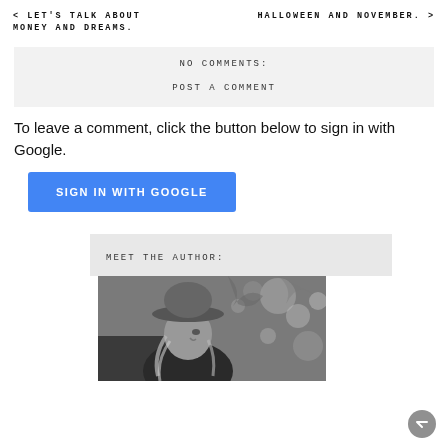< LET'S TALK ABOUT MONEY AND DREAMS.
HALLOWEEN AND NOVEMBER. >
NO COMMENTS:
POST A COMMENT
To leave a comment, click the button below to sign in with Google.
SIGN IN WITH GOOGLE
MEET THE AUTHOR:
[Figure (photo): Black and white photo of a woman wearing a wide-brimmed hat, with bokeh foliage background]